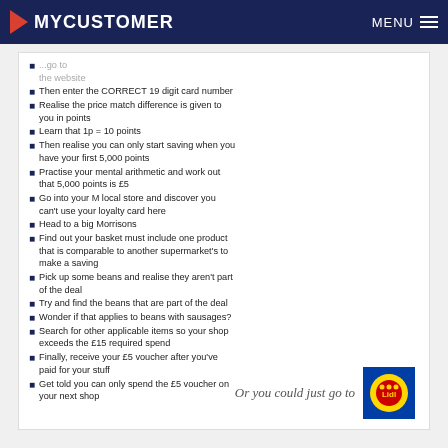MYCUSTOMER   MENU
[partial] ...go to / the website
Then enter the CORRECT 19 digit card number
Realise the price match difference is given to you in points
Learn that 1p = 10 points
Then realise you can only start saving when you have your first 5,000 points
Practise your mental arithmetic and work out that 5,000 points is £5
Go into your M local store and discover you can't use your loyalty card here
Head to a big Morrisons
Find out your basket must include one product that is comparable to another supermarket's to make a saving
Pick up some beans and realise they aren't part of the deal
Try and find the beans that are part of the deal
Wonder if that applies to beans with sausages?
Search for other applicable items so your shop exceeds the £15 required spend
Finally, receive your £5 voucher after you've paid for your stuff
Get told you can only spend the £5 voucher on your next shop
Or you could just go to [Lidl logo]